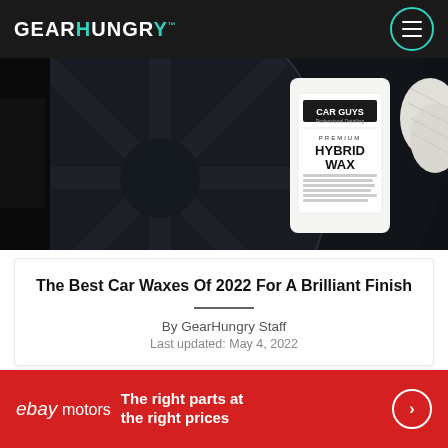GEARHUNGRY
[Figure (photo): Car Guys Premium Hybrid Wax bottle positioned in front of a dark alloy wheel with a microfiber cloth visible at the right edge]
The Best Car Waxes Of 2022 For A Brilliant Finish
By GearHungry Staff
Last updated: May 4, 2022
[Figure (photo): Partial view of car engine or mechanical parts with red accents, partially obscured]
[Figure (other): eBay Motors advertisement banner: The right parts at the right prices]